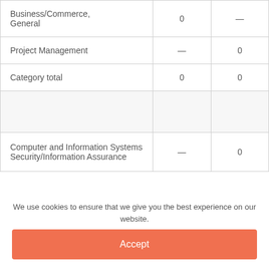| Business/Commerce, General | 0 | — |
| Project Management | — | 0 |
| Category total | 0 | 0 |
|  |  |  |
| Computer and Information Systems Security/Information Assurance | — | 0 |
We use cookies to ensure that we give you the best experience on our website.
Accept